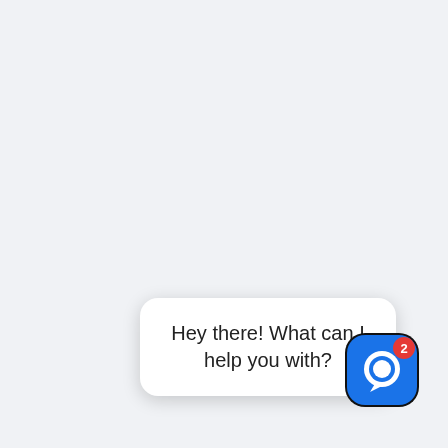Hey there! What can I help you with?
[Figure (illustration): Blue rounded-square chat/messaging app icon with a white speech bubble in center, and a red notification badge showing the number 2 in the top-right corner.]